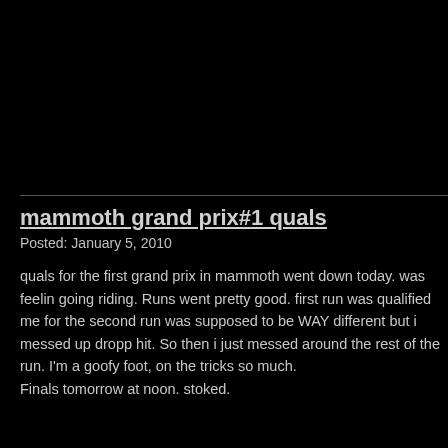mammoth grand prix#1 quals
Posted: January 5, 2010
quals for the first grand prix in mammoth went down today. was feeling going riding. Runs went pretty good. first run was qualified me for the second run was supposed to be WAY different but i messed up dropp hit. So then i just messed around the rest of the run. I'm a goofy foot, on the tricks so much.
Finals tomorrow at noon. stoked.